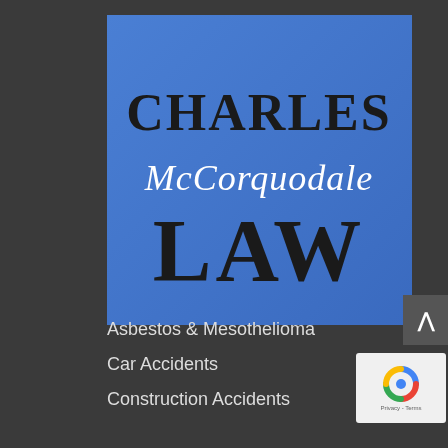[Figure (logo): Charles McCorquodale Law logo on blue background square. 'CHARLES' in large serif black text, 'McCorquodale' in white script/cursive font, 'LAW' in very large bold serif black text.]
Asbestos & Mesothelioma
Car Accidents
Construction Accidents